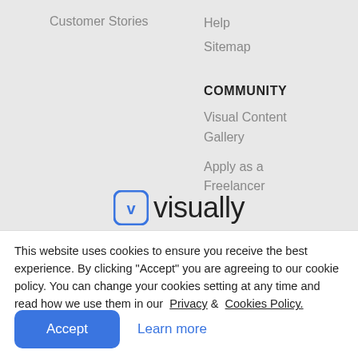Customer Stories
Help
Sitemap
COMMUNITY
Visual Content Gallery
Apply as a Freelancer
[Figure (logo): Visually logo with rounded square icon and wordmark 'visually']
This website uses cookies to ensure you receive the best experience. By clicking "Accept" you are agreeing to our cookie policy. You can change your cookies setting at any time and read how we use them in our Privacy & Cookies Policy.
Accept
Learn more